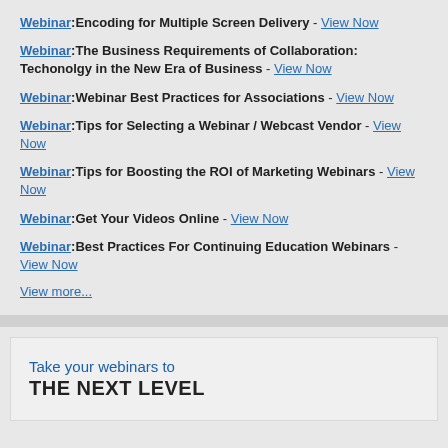Webinar:Encoding for Multiple Screen Delivery - View Now
Webinar:The Business Requirements of Collaboration: Techonolgy in the New Era of Business - View Now
Webinar:Webinar Best Practices for Associations - View Now
Webinar:Tips for Selecting a Webinar / Webcast Vendor - View Now
Webinar:Tips for Boosting the ROI of Marketing Webinars - View Now
Webinar:Get Your Videos Online - View Now
Webinar:Best Practices For Continuing Education Webinars - View Now
View more...
Take your webinars to THE NEXT LEVEL